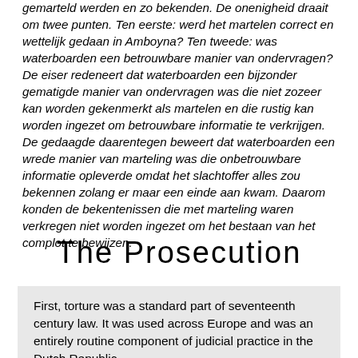gemarteld werden en zo bekenden. De onenigheid draait om twee punten. Ten eerste: werd het martelen correct en wettelijk gedaan in Amboyna? Ten tweede: was waterboarden een betrouwbare manier van ondervragen? De eiser redeneert dat waterboarden een bijzonder gematigde manier van ondervragen was die niet zozeer kan worden gekenmerkt als martelen en die rustig kan worden ingezet om betrouwbare informatie te verkrijgen. De gedaagde daarentegen beweert dat waterboarden een wrede manier van marteling was die onbetrouwbare informatie opleverde omdat het slachtoffer alles zou bekennen zolang er maar een einde aan kwam. Daarom konden de bekentenissen die met marteling waren verkregen niet worden ingezet om het bestaan van het complot te bewijzen.
The Prosecution
First, torture was a standard part of seventeenth century law. It was used across Europe and was an entirely routine component of judicial practice in the Dutch Republic.